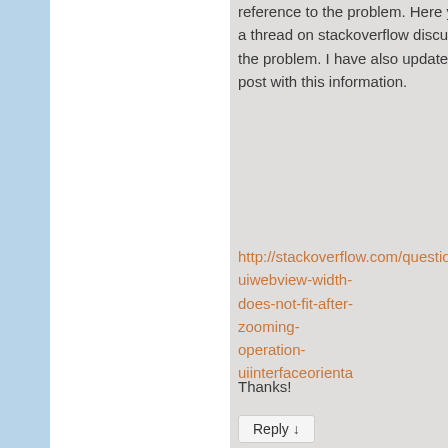reference to the problem. Here you have a thread on stackoverflow discussing the problem. I have also updated the post with this information.
http://stackoverflow.com/questions/2...uiwebview-width-does-not-fit-after-zooming-operation-uiinterfaceorienta
Thanks!
Reply ↓